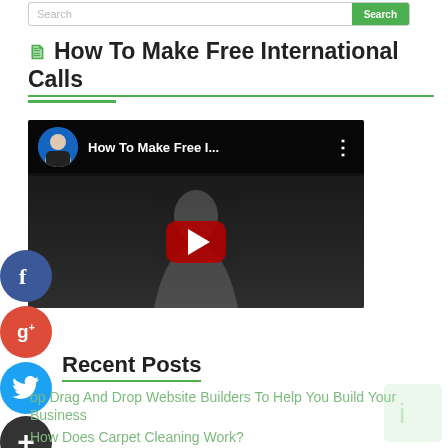Search [Search button]
How To Make Free International Calls
[Figure (screenshot): YouTube video thumbnail showing 'How To Make Free I...' with a man's avatar icon, YouTube play button in center, and menu dots. Video appears dark with person silhouette.]
Recent Posts
Top Drag And Drop Website Builders To Help You Build Your Business
How Does Carpet Cleaning Work?